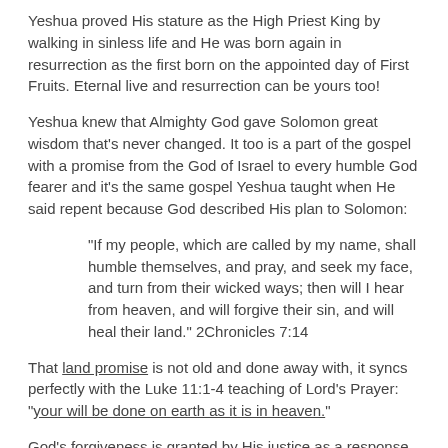Yeshua proved His stature as the High Priest King by walking in sinless life and He was born again in resurrection as the first born on the appointed day of First Fruits. Eternal live and resurrection can be yours too!
Yeshua knew that Almighty God gave Solomon great wisdom that's never changed. It too is a part of the gospel with a promise from the God of Israel to every humble God fearer and it's the same gospel Yeshua taught when He said repent because God described His plan to Solomon:
"If my people, which are called by my name, shall humble themselves, and pray, and seek my face, and turn from their wicked ways; then will I hear from heaven, and will forgive their sin, and will heal their land." 2Chronicles 7:14
That land promise is not old and done away with, it syncs perfectly with the Luke 11:1-4 teaching of Lord's Prayer: "your will be done on earth as it is in heaven."
God's forgiveness is granted by His justice as a response to